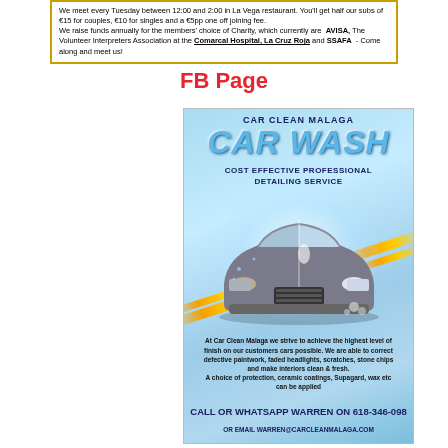We meet every Tuesday between 12:00 and 2:00 in La Vega restaurant. You'll get half our subs of €15 for couples, €10 for singles and a €5pp one off joining fee. We raise funds annually for the members' choice of Charity, which currently are AVISA, The Volunteer Interpreters Association at the Comarcal Hospital, La Cruz Roja and SSAFA - Come along and meet us!
FB Page
[Figure (photo): Car Clean Malaga car wash advertisement showing a silver car split between dirty and clean sides, with text: CAR CLEAN MALAGA CAR WASH COST EFFECTIVE PROFESSIONAL DETAILING SERVICE. Body text about achieving highest finish on customers cars, correcting defective paintwork, faded headlights, scratches, stone chips and making interiors clean and fresh. Call or WhatsApp Warren on 618-346-098 or email warren@carcleanmalaga.com]